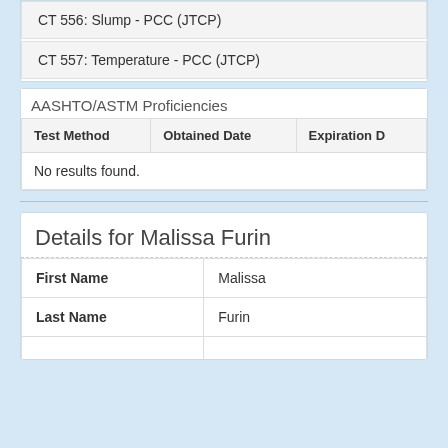CT 556: Slump - PCC (JTCP)
CT 557: Temperature - PCC (JTCP)
AASHTO/ASTM Proficiencies
| Test Method | Obtained Date | Expiration D |
| --- | --- | --- |
| No results found. |  |  |
Details for Malissa Furin
| First Name | Malissa |
| --- | --- |
| Last Name | Furin |